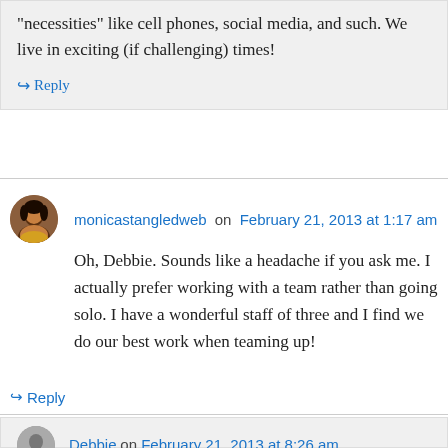“necessities” like cell phones, social media, and such. We live in exciting (if challenging) times!
↳ Reply
monicastangledweb on February 21, 2013 at 1:17 am
Oh, Debbie. Sounds like a headache if you ask me. I actually prefer working with a team rather than going solo. I have a wonderful staff of three and I find we do our best work when teaming up!
↳ Reply
Debbie on February 21, 2013 at 8:26 am